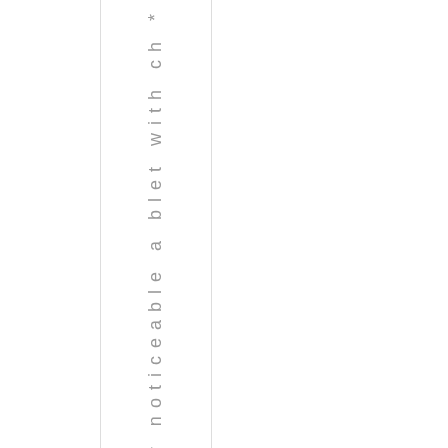brow, a barely noticeable a blet with ch *